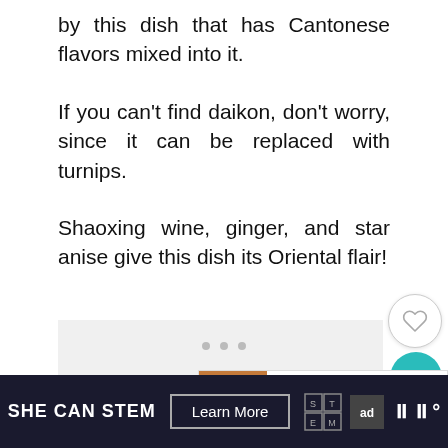by this dish that has Cantonese flavors mixed into it.
If you can't find daikon, don't worry, since it can be replaced with turnips.
Shaoxing wine, ginger, and star anise give this dish its Oriental flair!
[Figure (other): Gray content placeholder box with three dots indicating a loading slideshow]
[Figure (other): Like (heart) button, teal share button with count 1, and What's Next widget showing 30 BEST Cod Recipes]
SHE CAN STEM | Learn More | [Ad Council logos]